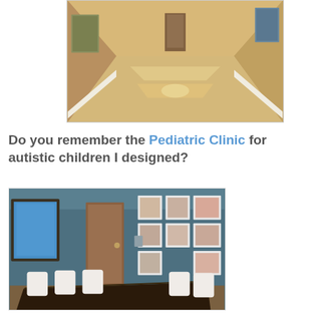[Figure (photo): Interior hallway of a clinic with hardwood floors, beige/tan walls, white baseboards, and artwork on the walls receding into the distance.]
Do you remember the Pediatric Clinic for autistic children I designed?
[Figure (photo): Conference room with dark blue-gray walls, a long dark wood table, white chairs, a grid of framed children's photographs on the wall, a wood door, and a colorful framed artwork on the left wall.]